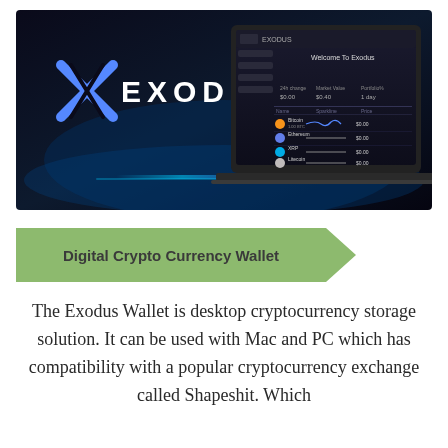[Figure (screenshot): Exodus cryptocurrency wallet application screenshot showing the Exodus logo with a blue X symbol on a dark background and a laptop screen displaying the Exodus wallet dashboard with 'Welcome To Exodus' text and a portfolio of cryptocurrencies.]
Digital Crypto Currency Wallet
The Exodus Wallet is desktop cryptocurrency storage solution. It can be used with Mac and PC which has compatibility with a popular cryptocurrency exchange called Shapeshit. Which